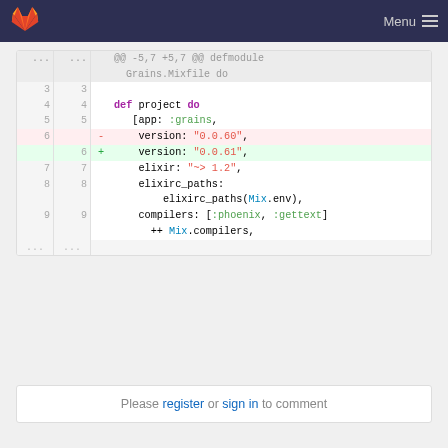Menu
[Figure (screenshot): GitLab code diff view showing version change from 0.0.60 to 0.0.61 in Grains.Mixfile]
Please register or sign in to comment